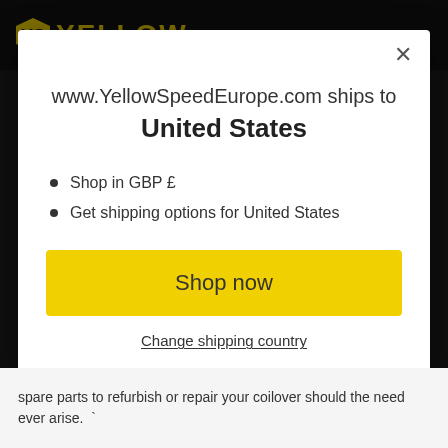[Figure (screenshot): Yellow Speed Europe website header/logo bar with yellow logo and dark background]
www.YellowSpeedEurope.com ships to United States
Shop in GBP £
Get shipping options for United States
Shop now
Change shipping country
spare parts to refurbish or repair your coilover should the need ever arise.